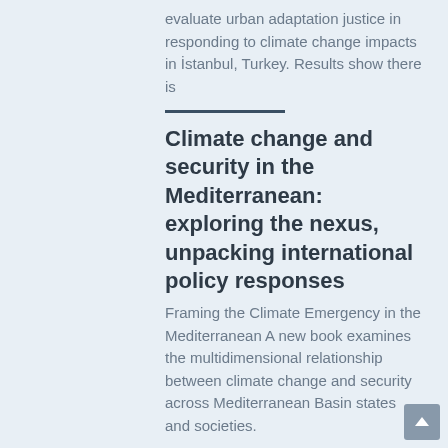evaluate urban adaptation justice in responding to climate change impacts in İstanbul, Turkey. Results show there is
Climate change and security in the Mediterranean: exploring the nexus, unpacking international policy responses
Framing the Climate Emergency in the Mediterranean A new book examines the multidimensional relationship between climate change and security across Mediterranean Basin states and societies.
The MAR1 Atlas of projected temperatures and precipitation